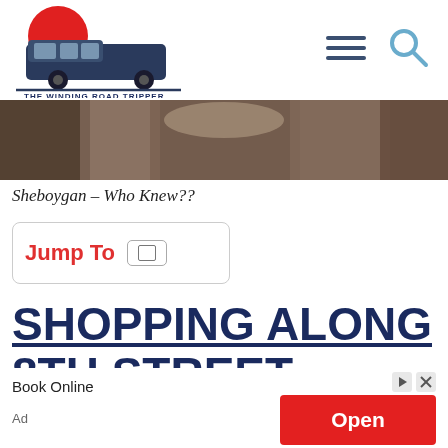[Figure (logo): The Winding Road Tripper logo with van and red circle]
[Figure (photo): Photo strip showing person near boxes or luggage, brown/tan tones]
Sheboygan – Who Knew??
Jump To
SHOPPING ALONG 8TH STREET
Book Online
Ad
[Figure (screenshot): Open button ad with red background]